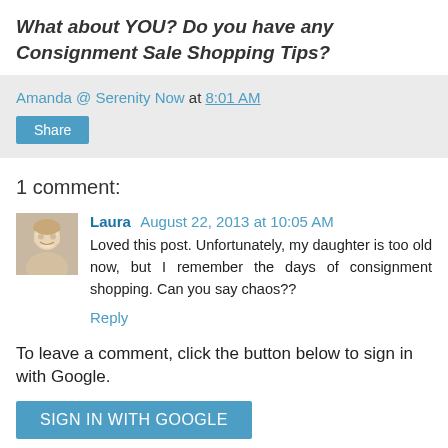What about YOU? Do you have any Consignment Sale Shopping Tips?
Amanda @ Serenity Now at 8:01 AM
Share
1 comment:
Laura  August 22, 2013 at 10:05 AM
Loved this post. Unfortunately, my daughter is too old now, but I remember the days of consignment shopping. Can you say chaos??
Reply
To leave a comment, click the button below to sign in with Google.
SIGN IN WITH GOOGLE